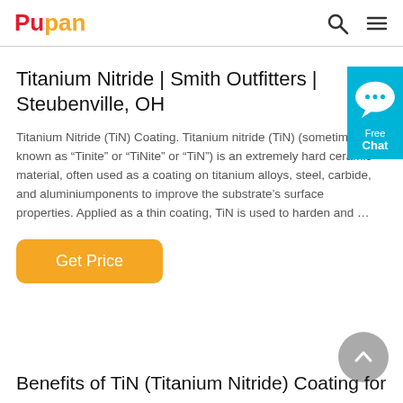Pupan
Titanium Nitride | Smith Outfitters | Steubenville, OH
Titanium Nitride (TiN) Coating. Titanium nitride (TiN) (sometimes known as “Tinite” or “TiNite” or “TiN”) is an extremely hard ceramic material, often used as a coating on titanium alloys, steel, carbide, and aluminiumponents to improve the substrate’s surface properties. Applied as a thin coating, TiN is used to harden and …
Benefits of TiN (Titanium Nitride) Coating for